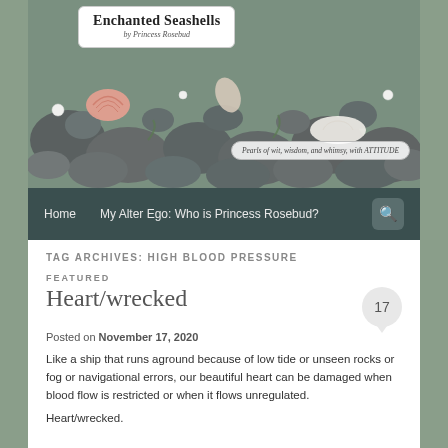[Figure (photo): Blog header image showing seashells and smooth gray rocks on a beach, with blog title box overlaid]
Enchanted Seashells by Princess Rosebud
Pearls of wit, wisdom, and whimsy, with ATTITUDE
Home | My Alter Ego: Who is Princess Rosebud?
TAG ARCHIVES: HIGH BLOOD PRESSURE
FEATURED
Heart/wrecked
Posted on November 17, 2020
Like a ship that runs aground because of low tide or unseen rocks or fog or navigational errors, our beautiful heart can be damaged when blood flow is restricted or when it flows unregulated.
Heart/wrecked.